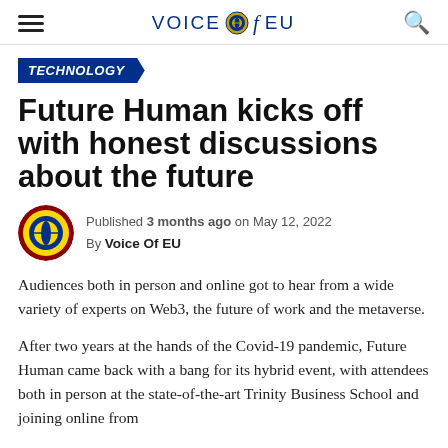VOICE of EU
TECHNOLOGY
Future Human kicks off with honest discussions about the future
Published 3 months ago on May 12, 2022
By Voice Of EU
Audiences both in person and online got to hear from a wide variety of experts on Web3, the future of work and the metaverse.
After two years at the hands of the Covid-19 pandemic, Future Human came back with a bang for its hybrid event, with attendees both in person at the state-of-the-art Trinity Business School and joining online from